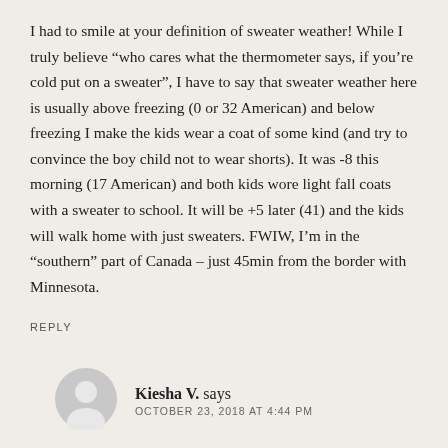I had to smile at your definition of sweater weather! While I truly believe “who cares what the thermometer says, if you’re cold put on a sweater”, I have to say that sweater weather here is usually above freezing (0 or 32 American) and below freezing I make the kids wear a coat of some kind (and try to convince the boy child not to wear shorts). It was -8 this morning (17 American) and both kids wore light fall coats with a sweater to school. It will be +5 later (41) and the kids will walk home with just sweaters. FWIW, I’m in the “southern” part of Canada – just 45min from the border with Minnesota.
REPLY
Kiesha V. says
OCTOBER 23, 2018 AT 4:44 PM